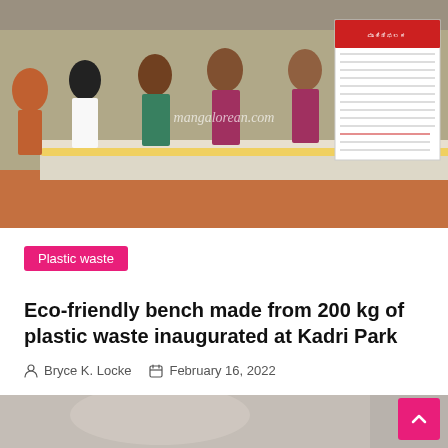[Figure (photo): Group of people in traditional Indian attire standing around an eco-friendly bench decorated with flowers and plastic bottle caps at Kadri Park. A sign board in Kannada script is visible. Watermark reads mangalorean.com]
Plastic waste
Eco-friendly bench made from 200 kg of plastic waste inaugurated at Kadri Park
Bryce K. Locke   February 16, 2022
[Figure (photo): Partial image of a sandy or dusty surface, bottom of the page, with a pink scroll-to-top button in the bottom right corner.]